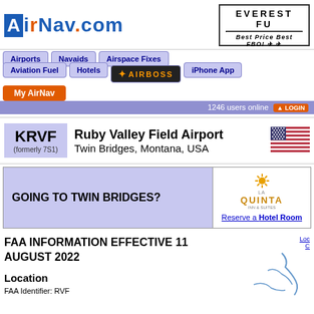[Figure (logo): AirNav.com logo with blue stylized text and orange dot]
[Figure (logo): Everest Fu... Best Price Best FBO! advertisement box]
Airports
Navaids
Airspace Fixes
Aviation Fuel
Hotels
AIRBOSS
iPhone App
My AirNav
1246 users online LOGIN
KRVF (formerly 7S1) Ruby Valley Field Airport Twin Bridges, Montana, USA
GOING TO TWIN BRIDGES?
Reserve a Hotel Room
FAA INFORMATION EFFECTIVE 11 AUGUST 2022
Location
FAA Identifier: RVF